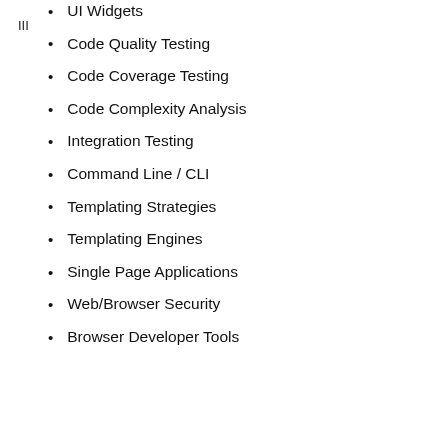III
UI Widgets
Code Quality Testing
Code Coverage Testing
Code Complexity Analysis
Integration Testing
Command Line / CLI
Templating Strategies
Templating Engines
Single Page Applications
Web/Browser Security
Browser Developer Tools